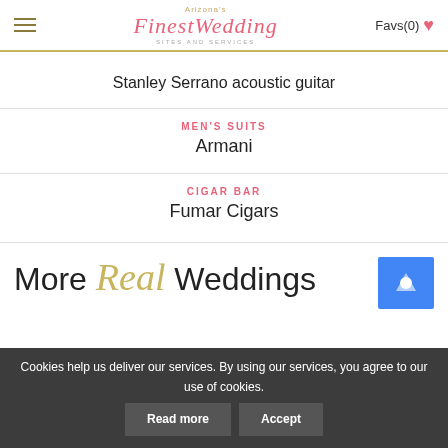Arizona's Finest Wedding Sites and Services — Favs(0)
Stanley Serrano acoustic guitar
MEN'S SUITS
Armani
CIGAR BAR
Fumar Cigars
More Real Weddings
Cookies help us deliver our services. By using our services, you agree to our use of cookies. Read more Accept